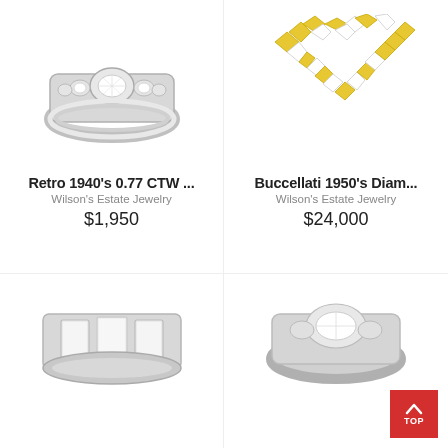[Figure (photo): Retro 1940s three-stone diamond engagement ring in white metal, oval center diamond with round side stones]
Retro 1940's 0.77 CTW ...
Wilson's Estate Jewelry
$1,950
[Figure (photo): Buccellati 1950s yellow and white diamond necklace, alternating fancy yellow and white cushion-cut diamonds in a necklace]
Buccellati 1950's Diam...
Wilson's Estate Jewelry
$24,000
[Figure (photo): Diamond band ring with baguette or emerald cut diamonds set in white metal, partially visible at bottom left]
[Figure (photo): Diamond ring partially visible at bottom right]